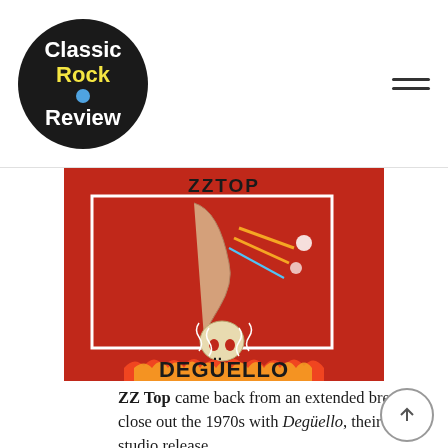Classic Rock Review
[Figure (photo): ZZ Top Deguello album cover — red background with a leg, lightning bolts, a skull, and flames at the bottom with the text ZZTOP at top and DEGUELLO at bottom]
ZZ Top came back from an extended break to close out the 1970s with Deguello, their sixth studio release.